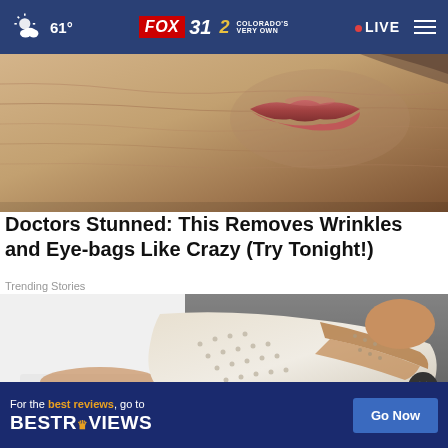61° FOX 31 2 COLORADO'S VERY OWN LIVE
[Figure (photo): Close-up photo of elderly person's face showing wrinkles and lips]
Doctors Stunned: This Removes Wrinkles and Eye-bags Like Crazy (Try Tonight!)
Trending Stories
[Figure (photo): Close-up photo of white sneaker/slip-on shoe with perforated design and tan accents worn with white jeans]
[Figure (advertisement): BestReviews advertisement banner: For the best reviews, go to BESTREVIEWS with Go Now button]